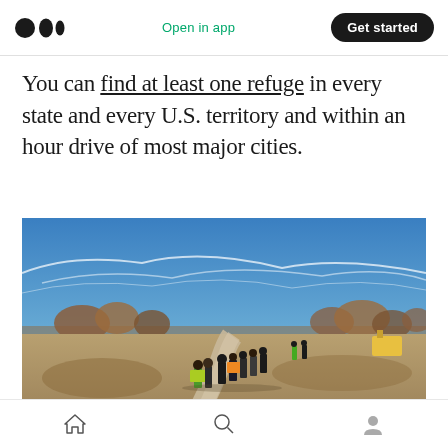Open in app | Get started
You can find at least one refuge in every state and every U.S. territory and within an hour drive of most major cities.
[Figure (photo): Group of people walking along a gravel path through dry autumn grassland under a blue sky with wispy clouds. Several people wear high-visibility vests. Trees with fall foliage are visible in the background.]
Home | Search | Profile